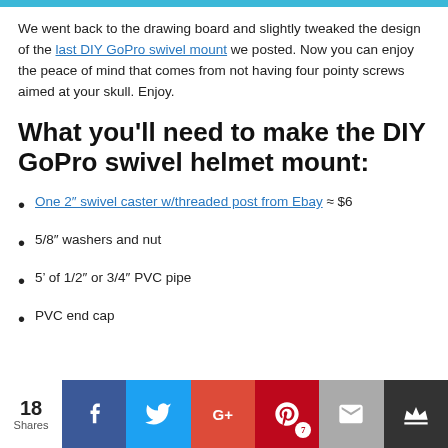We went back to the drawing board and slightly tweaked the design of the last DIY GoPro swivel mount we posted. Now you can enjoy the peace of mind that comes from not having four pointy screws aimed at your skull. Enjoy.
What you'll need to make the DIY GoPro swivel helmet mount:
One 2" swivel caster w/threaded post from Ebay ≈ $6
5/8" washers and nut
5' of 1/2" or 3/4" PVC pipe
PVC end cap
18 Shares | Facebook | Twitter | Google+ | Pinterest 7 | Email | Crown